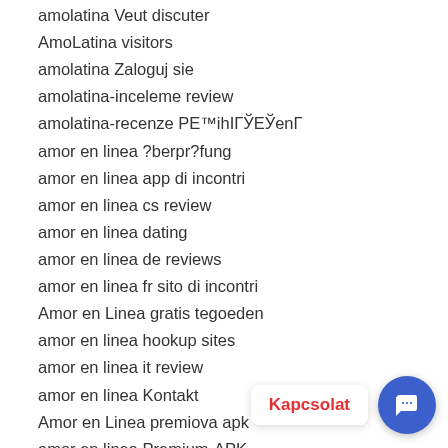amolatina Veut discuter
AmoLatina visitors
amolatina Zaloguj sie
amolatina-inceleme review
amolatina-recenze PE™ihIГЎEЎenГ
amor en linea ?berpr?fung
amor en linea app di incontri
amor en linea cs review
amor en linea dating
amor en linea de reviews
amor en linea fr sito di incontri
Amor en Linea gratis tegoeden
amor en linea hookup sites
amor en linea it review
amor en linea Kontakt
Amor en Linea premiova apk
amor en linea Premium-APK
amor en linea review
Amor en Linea strony takie jak
Amor en Linea visitors